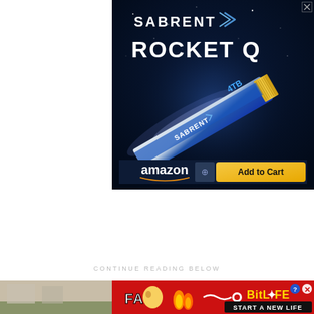[Figure (illustration): Sabrent Rocket Q 4TB NVMe SSD advertisement on dark blue starfield background with the product shown diagonally, 'SABRENT' logo at top with chevron graphic, 'ROCKET Q' text in white, Amazon 'Add to Cart' button at bottom]
CONTINUE READING BELOW
[Figure (illustration): BitLife 'Start a New Life' advertisement banner on red background with cartoon fail animation and fire graphics, partial left strip showing light brown/beige background]